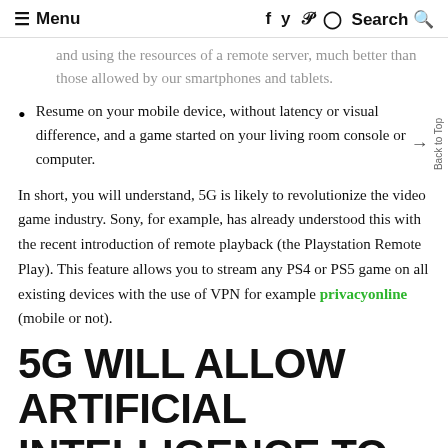≡ Menu   f  y  p  ⊙  Search Q
and using the resources of a remote server, much better than those allowed by our smartphones and tablets.
Resume on your mobile device, without latency or visual difference, and a game started on your living room console or computer.
In short, you will understand, 5G is likely to revolutionize the video game industry. Sony, for example, has already understood this with the recent introduction of remote playback (the Playstation Remote Play). This feature allows you to stream any PS4 or PS5 game on all existing devices with the use of VPN for example privacyonline (mobile or not).
5G WILL ALLOW ARTIFICIAL INTELLIGENCE TO TAKE